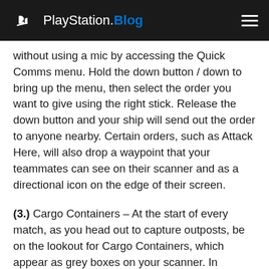PlayStation.Blog
without using a mic by accessing the Quick Comms menu. Hold the down button / down to bring up the menu, then select the order you want to give using the right stick. Release the down button and your ship will send out the order to anyone nearby. Certain orders, such as Attack Here, will also drop a waypoint that your teammates can see on their scanner and as a directional icon on the edge of their screen.
(3.) Cargo Containers – At the start of every match, as you head out to capture outposts, be on the lookout for Cargo Containers, which appear as grey boxes on your scanner. In addition to holding ore, Cargo Containers may